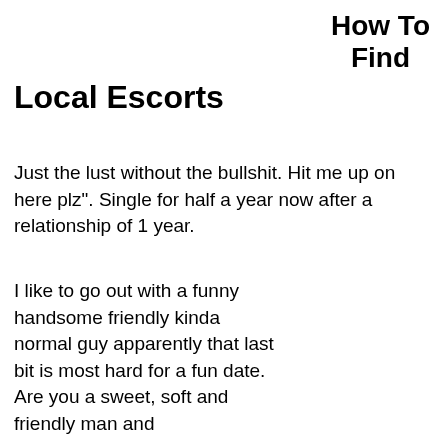How To Find
Local Escorts
Just the lust without the bullshit. Hit me up on here plz". Single for half a year now after a relationship of 1 year.
I like to go out with a funny handsome friendly kinda normal guy apparently that last bit is most hard for a fun date. Are you a sweet, soft and friendly man and